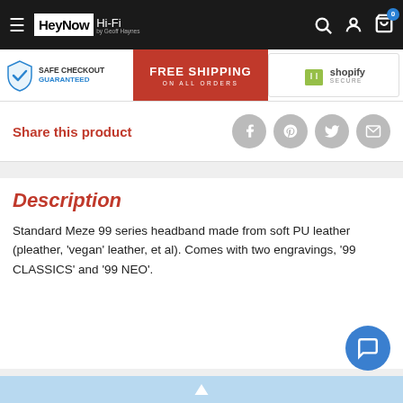HeyNow Hi-Fi by Geoff Haynes
[Figure (infographic): Trust badges: Safe Checkout Guaranteed, Free Shipping on All Orders, Shopify Secure]
Share this product
Description
Standard Meze 99 series headband made from soft PU leather (pleather, 'vegan' leather, et al). Comes with two engravings, '99 CLASSICS' and '99 NEO'.